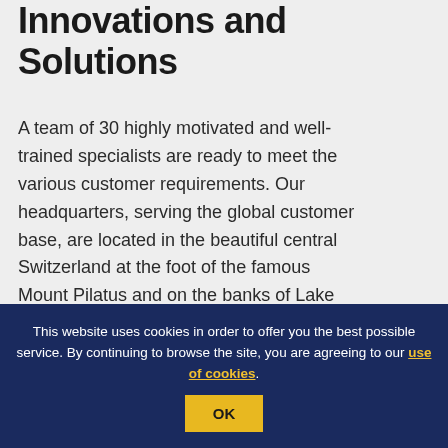Innovations and Solutions
A team of 30 highly motivated and well-trained specialists are ready to meet the various customer requirements. Our headquarters, serving the global customer base, are located in the beautiful central Switzerland at the foot of the famous Mount Pilatus and on the banks of Lake Lucerne. Sales
This website uses cookies in order to offer you the best possible service. By continuing to browse the site, you are agreeing to our use of cookies.